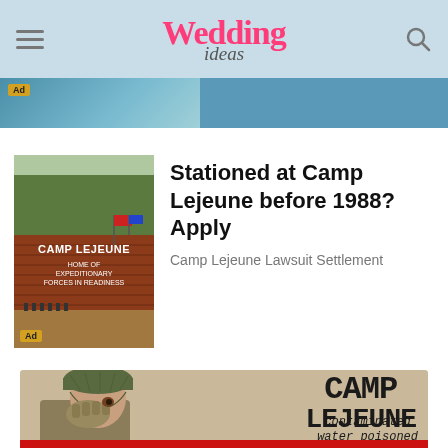Wedding ideas
[Figure (screenshot): Ad banner strip showing partial image of ocean/water scene with 'Ad' badge]
[Figure (screenshot): Camp Lejeune sign with soldiers — advertisement image with 'Ad' badge]
Stationed at Camp Lejeune before 1988? Apply
Camp Lejeune Lawsuit Settlement
[Figure (infographic): Infographic showing soldier covering face with text 'CAMP LEJEUNE contaminated water poisoned' on tan background with red elements at bottom]